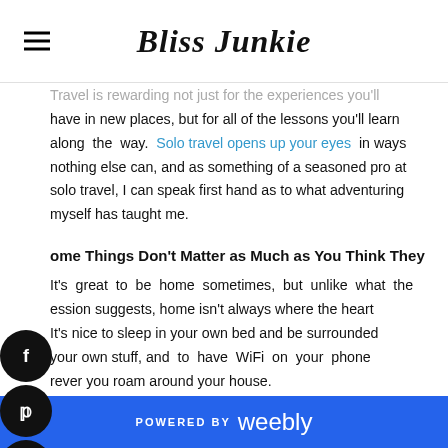Bliss Junkie
Travel is rewarding not just for the experiences you'll have in new places, but for all of the lessons you'll learn along the way. Solo travel opens up your eyes in ways nothing else can, and as something of a seasoned pro at solo travel, I can speak first hand as to what adventuring myself has taught me.
Some Things Don't Matter as Much as You Think They
It's great to be home sometimes, but unlike what the expression suggests, home isn't always where the heart is. It's nice to sleep in your own bed and be surrounded by your own stuff, and to have WiFi on your phone wherever you roam around your house.
In truth, it's equally as nice to call a comfortable
POWERED BY weebly